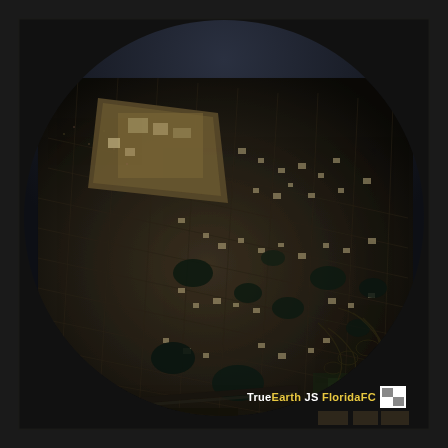[Figure (photo): Aerial/satellite photograph taken from high altitude showing a dense urban suburban area with a grid street pattern. The image shows a large metropolitan area with thousands of residential and commercial buildings, green areas, retention ponds, and what appears to be a large development or stadium complex in the upper left portion. The photo is taken at an oblique angle showing the curvature of the earth at the horizon. Colors are dark, muted tones of brown, grey, and dark green. A diagonal highway or railway line cuts through the lower portion of the image.]
TrueEarth JS Florida FC [logo]